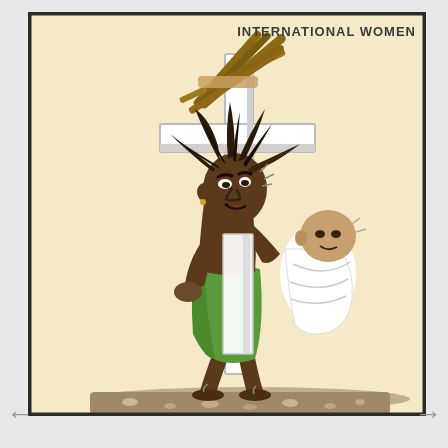INTERNATIONAL WOMEN
[Figure (illustration): A political cartoon showing a Black woman carrying a large wooden cross on her back along with firewood/sticks bundled on top. She also carries a baby wrapped on her back. She is wearing a green skirt and is bent forward under the heavy load, straining with effort. The background is a beige/cream color. The cartoon appears to be commenting on the burdens carried by women, related to International Women's Day.]